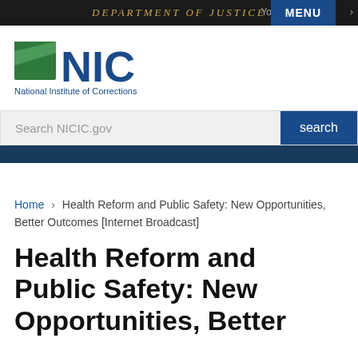DEPARTMENT of JUSTICE
[Figure (logo): National Institute of Corrections (NIC) logo with green and blue design and text 'National Institute of Corrections']
Search NICIC.gov
Home › Health Reform and Public Safety: New Opportunities, Better Outcomes [Internet Broadcast]
Health Reform and Public Safety: New Opportunities, Better